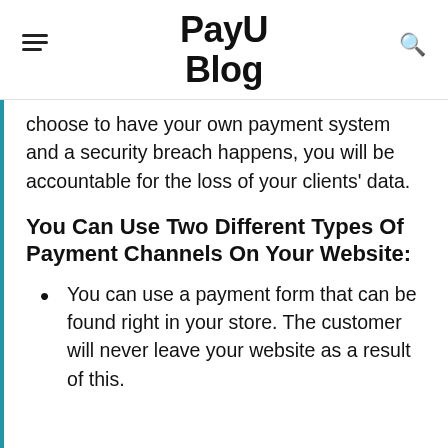PayU Blog
choose to have your own payment system and a security breach happens, you will be accountable for the loss of your clients' data.
You Can Use Two Different Types Of Payment Channels On Your Website:
You can use a payment form that can be found right in your store. The customer will never leave your website as a result of this.